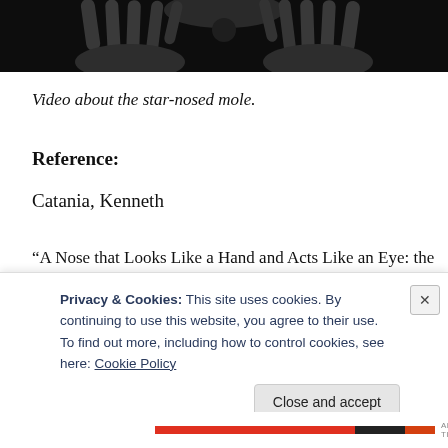[Figure (photo): Close-up black and white photo of star-nosed mole hands/claws against dark background]
Video about the star-nosed mole.
Reference:
Catania, Kenneth
“A Nose that Looks Like a Hand and Acts Like an Eye: the
Privacy & Cookies: This site uses cookies. By continuing to use this website, you agree to their use.
To find out more, including how to control cookies, see here: Cookie Policy
Close and accept